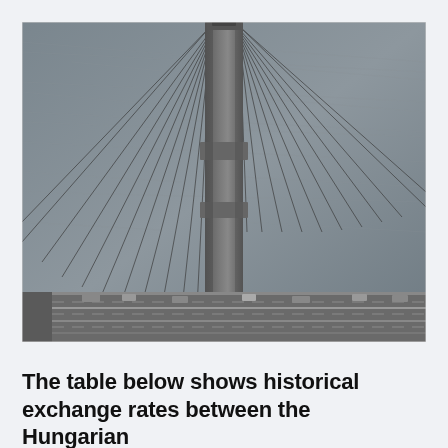[Figure (photo): Black and white aerial photograph looking down at the top of a suspension bridge tower (likely Golden Gate Bridge), with cables fanning out diagonally and the water below. Traffic lanes are visible at the base of the tower.]
The table below shows historical exchange rates between the Hungarian